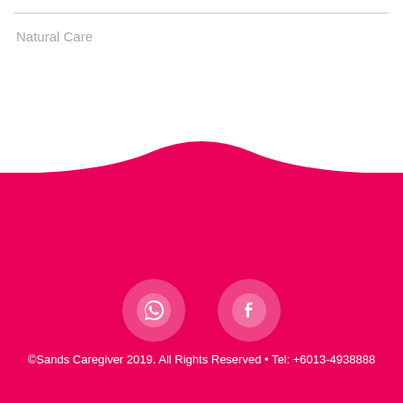Natural Care
[Figure (illustration): Pink/magenta curved wave shape dividing the white top section from the pink bottom section, with two social media icon circles (WhatsApp and Facebook) and footer copyright text]
©Sands Caregiver 2019. All Rights Reserved • Tel: +6013-4938888